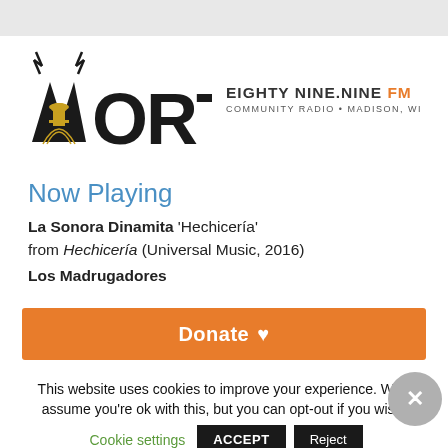[Figure (logo): WORT 89.9 FM Community Radio Madison WI logo with stylized W letters and capitol building graphic]
Now Playing
La Sonora Dinamita 'Hechicería' from Hechicería (Universal Music, 2016) Los Madrugadores
Donate ♥
This website uses cookies to improve your experience. We'll assume you're ok with this, but you can opt-out if you wish.
Cookie settings  ACCEPT  Reject